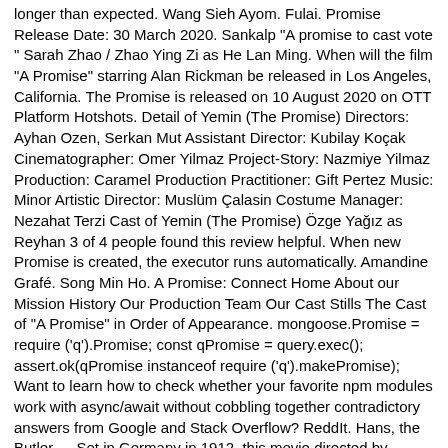longer than expected. Wang Sieh Ayom. Fulai. Promise Release Date: 30 March 2020. Sankalp "A promise to cast vote " Sarah Zhao / Zhao Ying Zi as He Lan Ming. When will the film "A Promise" starring Alan Rickman be released in Los Angeles, California. The Promise is released on 10 August 2020 on OTT Platform Hotshots. Detail of Yemin (The Promise) Directors: Ayhan Ozen, Serkan Mut Assistant Director: Kubilay Koçak Cinematographer: Omer Yilmaz Project-Story: Nazmiye Yilmaz Production: Caramel Production Practitioner: Gift Pertez Music: Minor Artistic Director: Muslüm Çalasin Costume Manager: Nezahat Terzi Cast of Yemin (The Promise) Özge Yağız as Reyhan 3 of 4 people found this review helpful. When new Promise is created, the executor runs automatically. Amandine Grafé. Song Min Ho. A Promise: Connect Home About our Mission History Our Production Team Our Cast Stills The Cast of "A Promise" in Order of Appearance. mongoose.Promise = require ('q').Promise; const qPromise = query.exec(); assert.ok(qPromise instanceof require ('q').makePromise); Want to learn how to check whether your favorite npm modules work with async/await without cobbling together contradictory answers from Google and Stack Overflow? ReddIt. Hans, the Butler … Set in Germany in 1912, this movie directed by Patrice Leconte ("Ridicule") tells the story of a young graduate of modest origins, Friedrich (Richard Madden) who becomes the secretary of Karl Hoffmeister, the owner of a steel factory (Alan Rickman). Sort by: Patrice Leconte Director and Screenplay. Wild Chives and Soy Bean Soup: 12 Years Reunion) is a 2014 South Korean television series starring Lee So-yeon, Namkoong Min, Lee Tae-im, Yoon So-hee, Lee Won-keun and Ryu Hyoyoung.It aired on JTBC from March 22 to June 29, 2014, on Saturdays and Sundays at 20:45 for 26 episodes. Make Me A Promise, Thomas is a popular song by Soundtrack / Cast Album | Create your own TikTok videos with the Make Me A Promise, Thomas song and explore 0… Kim joins Mark to discuss the very emotional